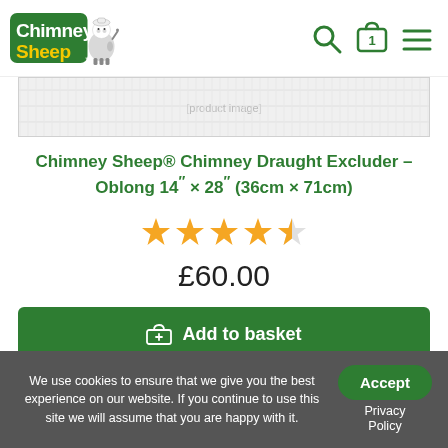[Figure (logo): Chimney Sheep logo with cartoon sheep character and green text]
[Figure (photo): Product image area (partially visible, cropped)]
Chimney Sheep® Chimney Draught Excluder – Oblong 14″ × 28″ (36cm × 71cm)
[Figure (other): 4.5 star rating shown in gold stars]
£60.00
Add to basket
We use cookies to ensure that we give you the best experience on our website. If you continue to use this site we will assume that you are happy with it.
Accept
Privacy Policy